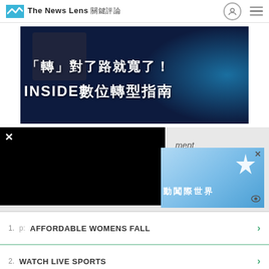The News Lens 關鍵評論
[Figure (photo): Dark blue digital transformation advertisement banner with white Chinese text: 「轉」對了路就寬了！INSIDE數位轉型指南]
[Figure (screenshot): Overlapping UI elements: black video player with X close button, partially obscured text 'ment', side advertisement with blue gradient background showing star graphic and Chinese text 動闖際世界, eye icon at bottom right]
1.  AFFORDABLE WOMENS FALL
2.  WATCH LIVE SPORTS
Yahoo! Search | Sponsored